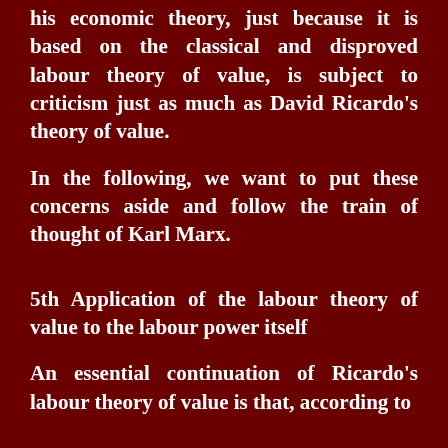his economic theory, just because it is based on the classical and disproved labour theory of value, is subject to criticism just as much as David Ricardo's theory of value.
In the following, we want to put these concerns aside and follow the train of thought of Karl Marx.
5th Application of the labour theory of value to the labour power itself
An essential continuation of Ricardo's labour theory of value is that, according to